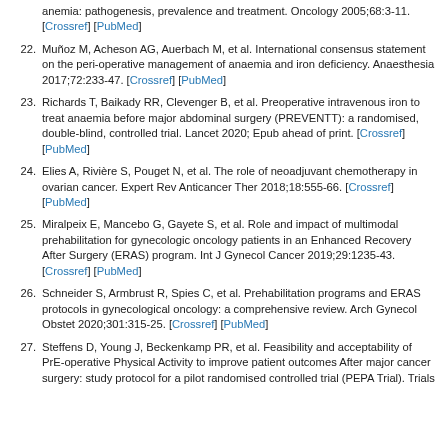anemia: pathogenesis, prevalence and treatment. Oncology 2005;68:3-11. [Crossref] [PubMed]
22. Muñoz M, Acheson AG, Auerbach M, et al. International consensus statement on the peri-operative management of anaemia and iron deficiency. Anaesthesia 2017;72:233-47. [Crossref] [PubMed]
23. Richards T, Baikady RR, Clevenger B, et al. Preoperative intravenous iron to treat anaemia before major abdominal surgery (PREVENTT): a randomised, double-blind, controlled trial. Lancet 2020; Epub ahead of print. [Crossref] [PubMed]
24. Elies A, Rivière S, Pouget N, et al. The role of neoadjuvant chemotherapy in ovarian cancer. Expert Rev Anticancer Ther 2018;18:555-66. [Crossref] [PubMed]
25. Miralpeix E, Mancebo G, Gayete S, et al. Role and impact of multimodal prehabilitation for gynecologic oncology patients in an Enhanced Recovery After Surgery (ERAS) program. Int J Gynecol Cancer 2019;29:1235-43. [Crossref] [PubMed]
26. Schneider S, Armbrust R, Spies C, et al. Prehabilitation programs and ERAS protocols in gynecological oncology: a comprehensive review. Arch Gynecol Obstet 2020;301:315-25. [Crossref] [PubMed]
27. Steffens D, Young J, Beckenkamp PR, et al. Feasibility and acceptability of PrE-operative Physical Activity to improve patient outcomes After major cancer surgery: study protocol for a pilot randomised controlled trial (PEPA Trial). Trials